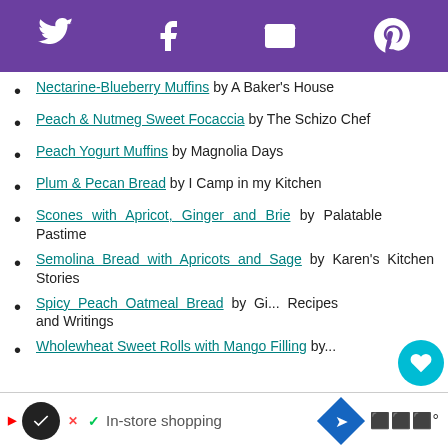Social share icons: Twitter, Facebook, Email, Pinterest
Nectarine-Blueberry Muffins by A Baker's House
Peach & Nutmeg Sweet Focaccia by The Schizo Chef
Peach Yogurt Muffins by Magnolia Days
Plum & Pecan Bread by I Camp in my Kitchen
Scones with Apricot, Ginger and Brie by Palatable Pastime
Semolina Bread with Apricots and Sage by Karen's Kitchen Stories
Spicy Peach Oatmeal Bread by Girl... Recipes and Writings
Wholewheat Sweet Rolls with Mango Filling by...
In-store shopping ad